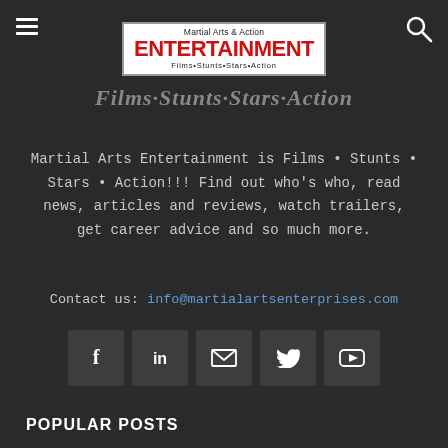Martial Arts & Action ENTERTAINMENT Films·Stunts·Stars·Action
Films·Stunts·Stars·Action
Martial Arts Entertainment is Films • Stunts • Stars • Action!!! Find out who's who, read news, articles and reviews, watch trailers, get career advice and so much more.
Contact us: info@martialartsenterprises.com
[Figure (infographic): Social media icon buttons: Facebook, LinkedIn, Email, Twitter, YouTube]
POPULAR POSTS
[Figure (photo): Golden Harvest Presentation video thumbnail with play button]
Golden Harvest Films List
July 13, 2014